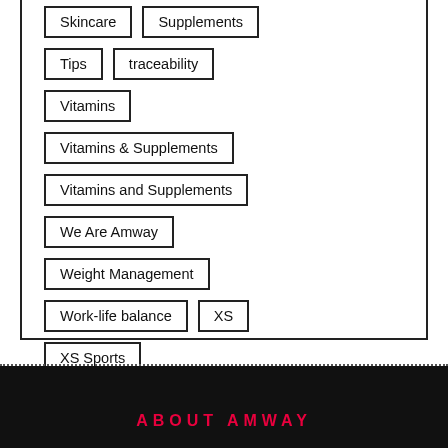Skincare
Supplements
Tips
traceability
Vitamins
Vitamins & Supplements
Vitamins and Supplements
We Are Amway
Weight Management
Work-life balance
XS
XS Sports
ABOUT AMWAY